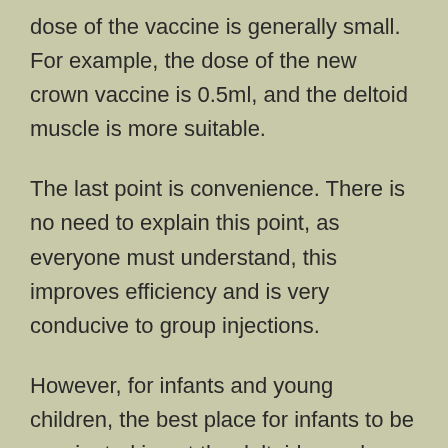dose of the vaccine is generally small. For example, the dose of the new crown vaccine is 0.5ml, and the deltoid muscle is more suitable.
The last point is convenience. There is no need to explain this point, as everyone must understand, this improves efficiency and is very conducive to group injections.
However, for infants and young children, the best place for infants to be vaccinated is not the deltoid muscle, but the lateral femoral muscle on the outside of the thigh.
This is because for infants and young children, the